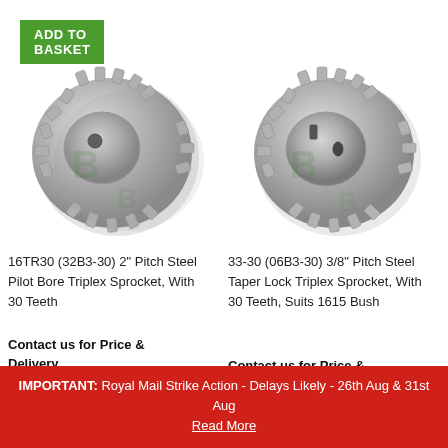ADD TO BASKET
[Figure (photo): Metal triplex sprocket, 2 inch pitch steel pilot bore, 30 teeth, left product]
16TR30 (32B3-30) 2" Pitch Steel Pilot Bore Triplex Sprocket, With 30 Teeth
Contact us for Price & Delivery
[Figure (photo): Metal triplex sprocket, 3/8 inch pitch steel taper lock, 30 teeth, right product]
33-30 (06B3-30) 3/8" Pitch Steel Taper Lock Triplex Sprocket, With 30 Teeth, Suits 1615 Bush
Contact us for Price &
IMPORTANT: Royal Mail Strike Action - Delays Likely - 26th Aug & 31st Aug Read More